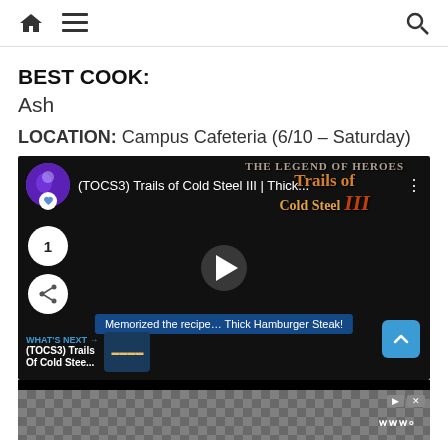Navigation bar with home, menu, and search icons
BEST COOK:
Ash
LOCATION: Campus Cafeteria (6/10 – Saturday)
[Figure (screenshot): Embedded YouTube-style video player showing '(TOCS3) Trails of Cold Steel III | Thick...' with Trails of Cold Steel III logo, play button, subtitle bar reading 'Memorized the recipe... Thick Hamburger Steak!', like count of 1, share button, scroll-up button, and 'What's Next' panel showing '(TOCS3) Trails Of Cold Stee...']
[Figure (screenshot): Advertisement bar with geometric pattern and Tidal logo, with close/skip controls]